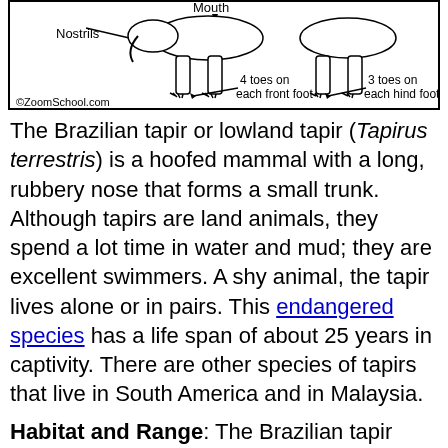[Figure (illustration): Diagram of a tapir showing nostrils, mouth label at top, feet with 4 toes on each front foot and 3 toes on each hind foot. Credit: ©ZoomSchool.com]
The Brazilian tapir or lowland tapir (Tapirus terrestris) is a hoofed mammal with a long, rubbery nose that forms a small trunk. Although tapirs are land animals, they spend a lot time in water and mud; they are excellent swimmers. A shy animal, the tapir lives alone or in pairs. This endangered species has a life span of about 25 years in captivity. There are other species of tapirs that live in South America and in Malaysia.
Habitat and Range: The Brazilian tapir lives in tropical rain forests, grasslands, swampy areas, and thickets of South America.
Anatomy: The Brazilian tapir is about 3 feet (91 cm) tall at the shoulder; it weighs up to 600 pounds (270 kg). It has a bulky body, short legs, and a bristly coat. The young look like brown watermelons with legs; they are light brown with white stripes and dots.